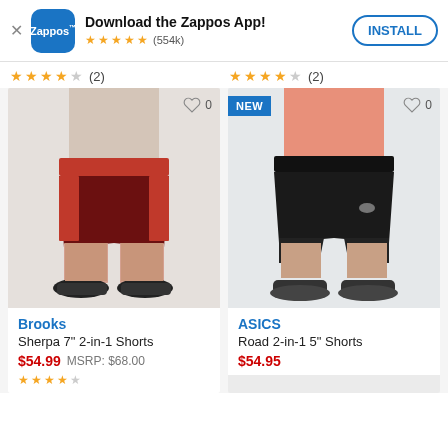[Figure (screenshot): Zappos app install banner with logo, star rating (554k reviews), and INSTALL button]
[Figure (photo): Left product: Brooks Sherpa 7" 2-in-1 Shorts in dark red/maroon on male model, 4-star rating (2 reviews), heart/wishlist button with 0]
[Figure (photo): Right product: ASICS Road 2-in-1 5" Shorts in black on male model with NEW badge, 4-star rating (2 reviews), heart/wishlist button with 0]
Brooks
Sherpa 7" 2-in-1 Shorts
$54.99  MSRP: $68.00
ASICS
Road 2-in-1 5" Shorts
$54.95